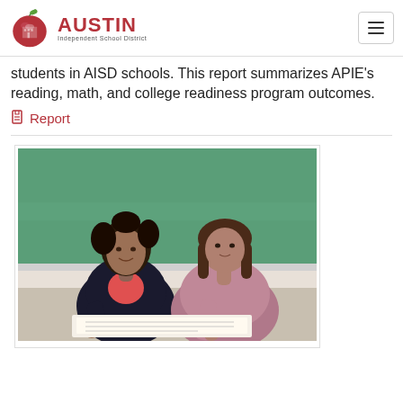Austin Independent School District
students in AISD schools. This report summarizes APIE's reading, math, and college readiness program outcomes.
Report
[Figure (photo): Two women sitting at a desk, one appears to be a teacher tutoring a student. Green chalkboard in the background.]